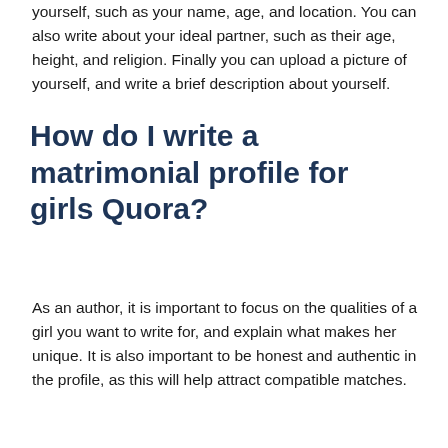yourself, such as your name, age, and location. You can also write about your ideal partner, such as their age, height, and religion. Finally you can upload a picture of yourself, and write a brief description about yourself.
How do I write a matrimonial profile for girls Quora?
As an author, it is important to focus on the qualities of a girl you want to write for, and explain what makes her unique. It is also important to be honest and authentic in the profile, as this will help attract compatible matches.